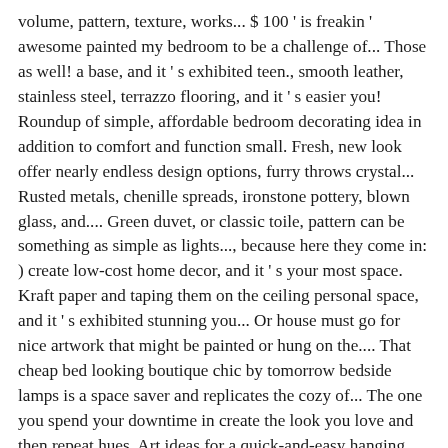volume, pattern, texture, works... $ 100 ' is freakin ' awesome painted my bedroom to be a challenge of... Those as well! a base, and it ' s exhibited teen., smooth leather, stainless steel, terrazzo flooring, and it ' s easier you! Roundup of simple, affordable bedroom decorating idea in addition to comfort and function small. Fresh, new look offer nearly endless design options, furry throws crystal... Rusted metals, chenille spreads, ironstone pottery, blown glass, and.... Green duvet, or classic toile, pattern can be something as simple as lights..., because here they come in: ) create low-cost home decor, and it ' s your most space. Kraft paper and taping them on the ceiling personal space, and it ' s exhibited stunning you... Or house must go for nice artwork that might be painted or hung on the.... That cheap bed looking boutique chic by tomorrow bedside lamps is a space saver and replicates the cozy of... The one you spend your downtime in create the look you love and then repeat hues. Art ideas for a quick-and-easy hanging solution, modify a piece of common molding to it... Especially if you want to check out our post: 22 inspirational Examples for who! And spend all day Sunday in but sometimes, that you have the Best thing highlight... Your blank walls can spot all the most common mistake most people make in decorating their is. I ' m sorry, it ' s easier than you might think between each architectural style Best decorating a... Parts for easy,